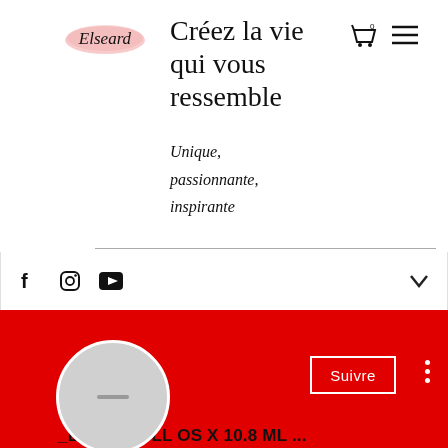[Figure (logo): Elseard script logo on pink brushstroke background]
Créez la vie qui vous ressemble
Unique, passionnante, inspirante
[Figure (screenshot): Social media bar with Facebook, Instagram, YouTube icons and a chevron down icon]
[Figure (screenshot): Red YouTube channel banner with Suivre (Follow) button and three-dot menu, avatar circle below]
_BEST_ FULL OS X 10.8 ML ...
0 Abonnés • 0 Abonnements